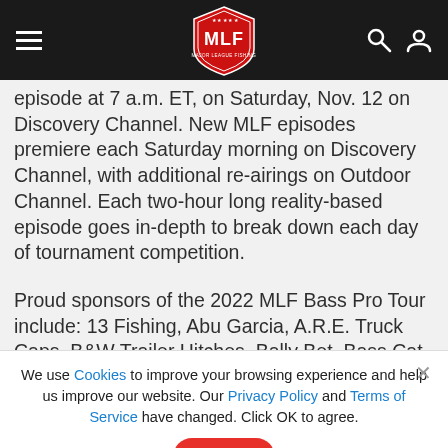MLF - Major League Fishing navigation bar
episode at 7 a.m. ET, on Saturday, Nov. 12 on Discovery Channel. New MLF episodes premiere each Saturday morning on Discovery Channel, with additional re-airings on Outdoor Channel. Each two-hour long reality-based episode goes in-depth to break down each day of tournament competition.
Proud sponsors of the 2022 MLF Bass Pro Tour include: 13 Fishing, Abu Garcia, A.R.E. Truck Caps, B&W Trailer Hitches, Bally Bet. Bass Cat. Bass Pro Shops. Berkley. Covercraft.
We use Cookies to improve your browsing experience and help us improve our website. Our Privacy Policy and Terms of Service have changed. Click OK to agree.
[Figure (other): THE TRAIL IS YOURS. EXPLORE MORE - Polaris advertisement banner with off-road vehicle on rocky terrain]